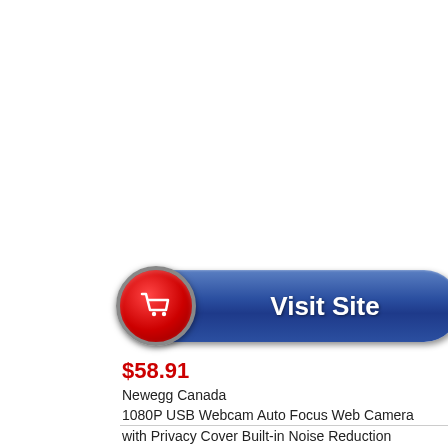[Figure (other): Blue 'Visit Site' button with red shopping cart icon circle on left side]
$58.91
Newegg Canada
1080P USB Webcam Auto Focus Web Camera with Privacy Cover Built-in Noise Reduction Microphone for Laptop Desktop Black